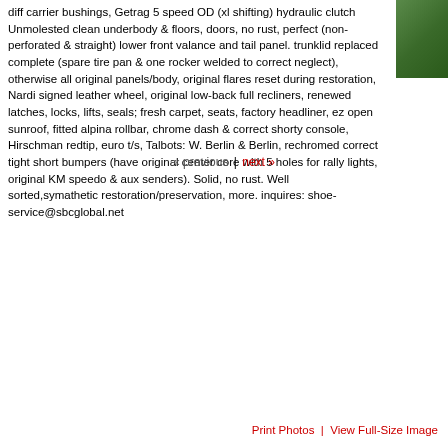diff carrier bushings, Getrag 5 speed OD (xl shifting) hydraulic clutch Unmolested clean underbody & floors, doors, no rust, perfect (non-perforated & straight) lower front valance and tail panel. trunklid replaced complete (spare tire pan & one rocker welded to correct neglect), otherwise all original panels/body, original flares reset during restoration, Nardi signed leather wheel, original low-back full recliners, renewed latches, locks, lifts, seals; fresh carpet, seats, factory headliner, ez open sunroof, fitted alpina rollbar, chrome dash & correct shorty console, Hirschman redtip, euro t/s, Talbots: W. Berlin & Berlin, rechromed correct tight short bumpers (have original center core with 5 holes for rally lights, original KM speedo & aux senders). Solid, no rust. Well sorted,symathetic restoration/preservation, more. inquires: shoe-service@sbcglobal.net
[Figure (photo): Partial view of a car (green/dark colored) in upper right corner]
« previous | next »
Print Photos  |  View Full-Size Image